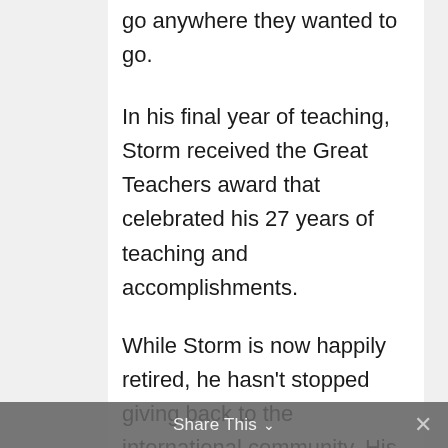go anywhere they wanted to go.
In his final year of teaching, Storm received the Great Teachers award that celebrated his 27 years of teaching and accomplishments.
While Storm is now happily retired, he hasn't stopped giving back to the international community. His encounter with the Andean girls seems to have inspired him to give many more gifts of agency and transportation. After retirement, he now volunteers with
Share This ∨  ✕